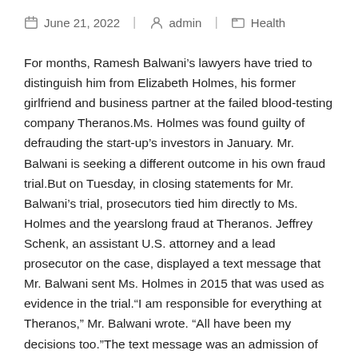June 21, 2022 | admin | Health
For months, Ramesh Balwani’s lawyers have tried to distinguish him from Elizabeth Holmes, his former girlfriend and business partner at the failed blood-testing company Theranos.Ms. Holmes was found guilty of defrauding the start-up’s investors in January. Mr. Balwani is seeking a different outcome in his own fraud trial.But on Tuesday, in closing statements for Mr. Balwani’s trial, prosecutors tied him directly to Ms. Holmes and the yearslong fraud at Theranos. Jeffrey Schenk, an assistant U.S. attorney and a lead prosecutor on the case, displayed a text message that Mr. Balwani sent Ms. Holmes in 2015 that was used as evidence in the trial.“I am responsible for everything at Theranos,” Mr. Balwani wrote. “All have been my decisions too.”The text message was an admission of guilt, Mr. Schenk said, adding, “He’s acknowledging his role in the fraud.”The presentation capped more than three months of testimony in Mr. Balwani’s trial, which has also…